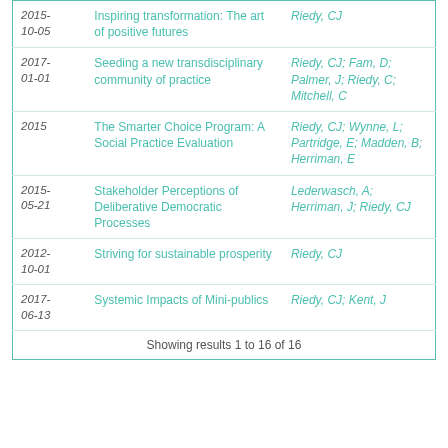| Date | Title | Authors |
| --- | --- | --- |
| 2015-10-05 | Inspiring transformation: The art of positive futures | Riedy, CJ |
| 2017-01-01 | Seeding a new transdisciplinary community of practice | Riedy, CJ; Fam, D; Palmer, J; Riedy, C; Mitchell, C |
| 2015 | The Smarter Choice Program: A Social Practice Evaluation | Riedy, CJ; Wynne, L; Partridge, E; Madden, B; Herriman, E |
| 2015-05-21 | Stakeholder Perceptions of Deliberative Democratic Processes | Lederwasch, A; Herriman, J; Riedy, CJ |
| 2012-10-01 | Striving for sustainable prosperity | Riedy, CJ |
| 2017-06-13 | Systemic Impacts of Mini-publics | Riedy, CJ; Kent, J |
Showing results 1 to 16 of 16